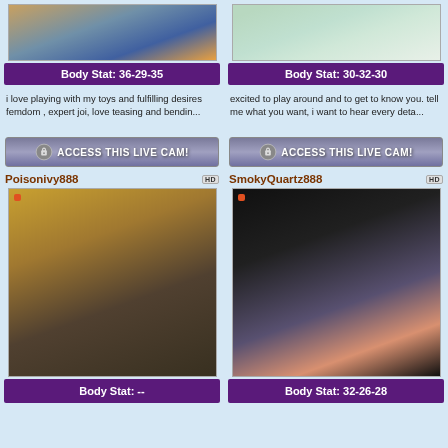[Figure (photo): Cropped photo with blue lingerie top]
[Figure (photo): Cropped photo with mint lace top]
Body Stat: 36-29-35
Body Stat: 30-32-30
i love playing with my toys and fulfilling desires femdom , expert joi, love teasing and bendin...
excited to play around and to get to know you. tell me what you want, i want to hear every deta...
[Figure (other): ACCESS THIS LIVE CAM! button with lock icon]
[Figure (other): ACCESS THIS LIVE CAM! button with lock icon]
Poisonivy888
SmokyQuartz888
[Figure (photo): Tattooed woman in yellow crop top and black shorts on orange surface]
[Figure (photo): Woman in black latex outfit with purple hair, glitter background]
Body Stat: --
Body Stat: 32-26-28